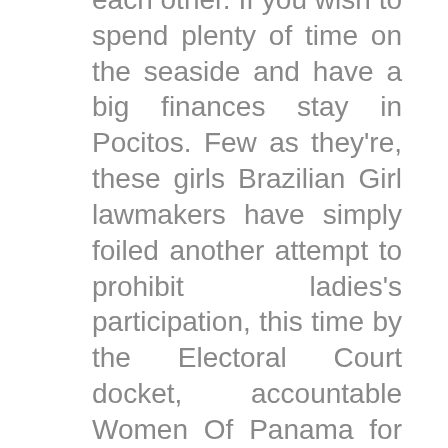each other. If you wish to spend plenty of time on the seaside and have a big finances stay in Pocitos. Few as they're, these girls Brazilian Girl lawmakers have simply foiled another attempt to prohibit ladies's participation, this time by the Electoral Court docket, accountable Women Of Panama for defining the legal guidelines for the quota laws" that will govern the interior get collectively elections to be held on Jun. 28. Those that wish to take pleasure in their time within the nation of Uruguay by playing in casinos can